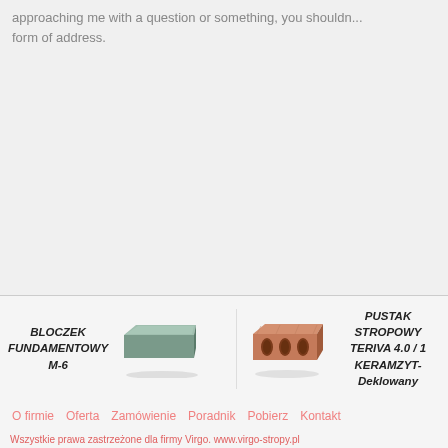approaching me with a question or something, you should... form of address.
[Figure (other): Product banner showing building materials: BLOCZEK FUNDAMENTOWY M-6 (a grey concrete block) and PUSTAK STROPOWY TERIVA 4.0/1 KERAMZYT-Deklowany (a terracotta hollow ceiling block)]
O firmie   Oferta   Zamówienie   Poradnik   Pobierz   Kontakt
Wszystkie prawa zastrzeżone dla firmy Virgo. www.virgo-stropy.pl